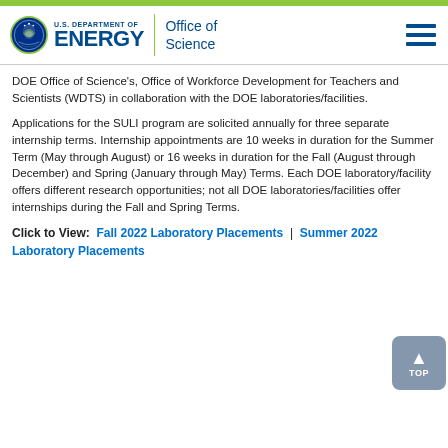U.S. Department of Energy | Office of Science
DOE Office of Science's, Office of Workforce Development for Teachers and Scientists (WDTS) in collaboration with the DOE laboratories/facilities.
Applications for the SULI program are solicited annually for three separate internship terms. Internship appointments are 10 weeks in duration for the Summer Term (May through August) or 16 weeks in duration for the Fall (August through December) and Spring (January through May) Terms. Each DOE laboratory/facility offers different research opportunities; not all DOE laboratories/facilities offer internships during the Fall and Spring Terms.
Click to View:  Fall 2022 Laboratory Placements  |  Summer 2022 Laboratory Placements